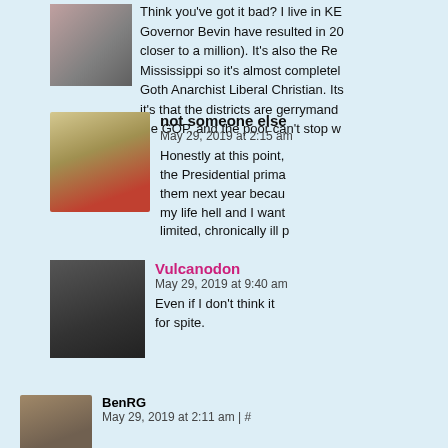[Figure (photo): User avatar showing two figures, one in red dress one in dark costume]
Think you've got it bad? I live in KE... Governor Bevin have resulted in 20... closer to a million). It's also the Re... Mississippi so it's almost completely... Goth Anarchist Liberal Christian. Its... it's that the districts are gerrymand... the GOP, and the poor can't stop w...
[Figure (illustration): Cartoon avatar of a person with dark hair in red outfit]
not someone else
May 29, 2019 at 2:15 am
Honestly at this point,... the Presidential prima... them next year becau... my life hell and I want... limited, chronically ill p...
[Figure (photo): Black and white photo of a person]
Vulcanodon
May 29, 2019 at 9:40 am
Even if I don't think it... for spite.
[Figure (photo): User avatar photo]
BenRG
May 29, 2019 at 2:11 am | #